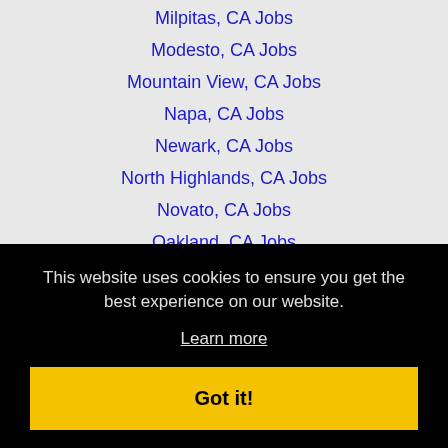Milpitas, CA Jobs
Modesto, CA Jobs
Mountain View, CA Jobs
Napa, CA Jobs
Newark, CA Jobs
North Highlands, CA Jobs
Novato, CA Jobs
Oakland, CA Jobs
Palo Alto, CA Jobs
This website uses cookies to ensure you get the best experience on our website.
Learn more
Got it!
Rohnert Park, CA Jobs